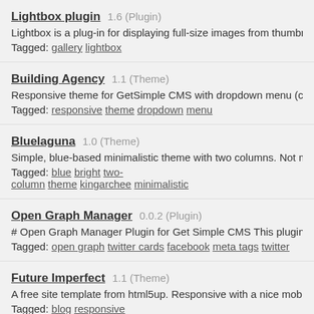Lightbox plugin 1.6 (Plugin)
Lightbox is a plug-in for displaying full-size images from thumbnails and for creating simple
Tagged: gallery lightbox
Building Agency 1.1 (Theme)
Responsive theme for GetSimple CMS with dropdown menu (css). To get multi-level menu
Tagged: responsive theme dropdown menu
Bluelaguna 1.0 (Theme)
Simple, blue-based minimalistic theme with two columns. Not my theme, it's a converted H
Tagged: blue bright two-column theme kingarchee minimalistic
Open Graph Manager 0.0.2 (Plugin)
# Open Graph Manager Plugin for Get Simple CMS This plugin can be used to extend the
Tagged: open graph twitter cards facebook meta tags twitter
Future Imperfect 1.1 (Theme)
A free site template from html5up. Responsive with a nice mobile menu and a lot of css fo
Tagged: blog responsive